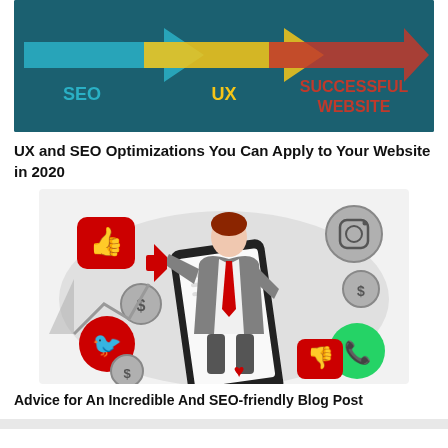[Figure (infographic): SEO + UX = Successful Website infographic with teal background, colored arrows (teal, yellow, red) and text labels SEO, UX, SUCCESSFUL WEBSITE]
UX and SEO Optimizations You Can Apply to Your Website in 2020
[Figure (illustration): Illustration of a businessman with red tie holding a megaphone, standing on a smartphone, surrounded by social media icons (thumbs up, Twitter, Instagram, dollar signs, WhatsApp, heart, and other icons)]
Advice for An Incredible And SEO-friendly Blog Post